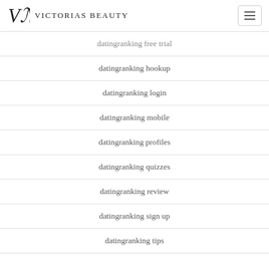Victorias Beauty
datingranking free trial
datingranking hookup
datingranking login
datingranking mobile
datingranking profiles
datingranking quizzes
datingranking review
datingranking sign up
datingranking tips